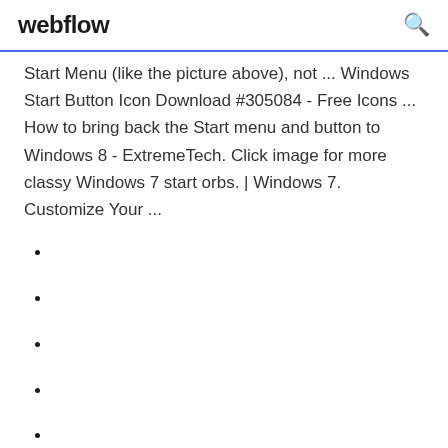webflow
Start Menu (like the picture above), not ... Windows Start Button Icon Download #305084 - Free Icons ... How to bring back the Start menu and button to Windows 8 - ExtremeTech. Click image for more classy Windows 7 start orbs. | Windows 7. Customize Your ...
1487